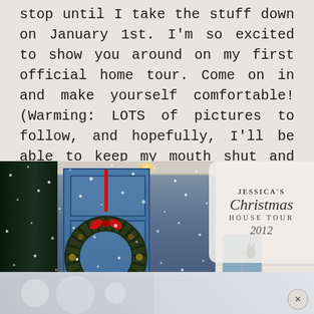stop until I take the stuff down on January 1st. I'm so excited to show you around on my first official home tour. Come on in and make yourself comfortable! (Warming: LOTS of pictures to follow, and hopefully, I'll be able to keep my mouth shut and let you enjoy it! 😊
[Figure (photo): Photo of a house front door in winter with snow falling. A dark wreath with red ribbon hangs on a blue door. White siding on right side. Overlaid text reads: Jessica's Christmas House Tour 2012 in a decorative cloud/badge shape. Bottom portion shows a second snowy outdoor photo cropped at page edge. A close button (×) appears at bottom right.]